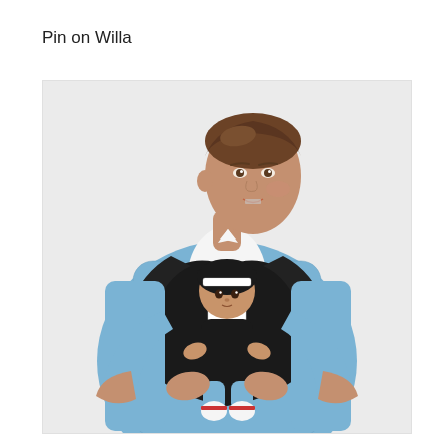Pin on Willa
[Figure (photo): A young man wearing a blue striped shirt holding a baby in a black baby wrap carrier. The baby is wearing a small black hat and white socks with red stripes. The man is smiling and looking at the camera.]